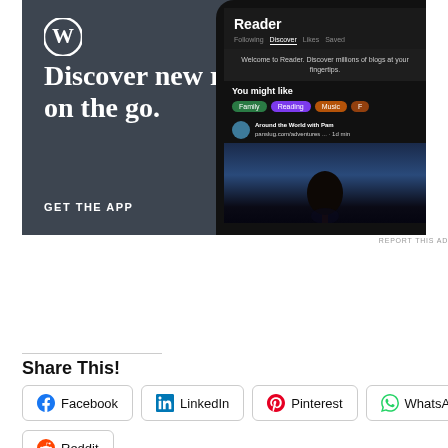[Figure (screenshot): WordPress advertisement banner with dark gray background showing 'Discover new reads on the go.' text, WordPress logo, GET THE APP call-to-action, and phone mockup showing the WordPress Reader app interface]
REPORT THIS AD
Share This!
Facebook  LinkedIn  Pinterest  WhatsApp
Reddit